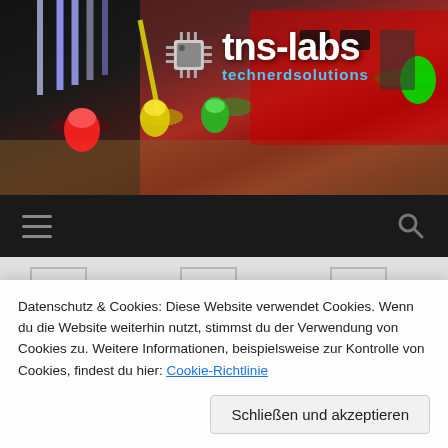[Figure (photo): Header photo of electronics workbench with red PCB, LEDs (red, yellow, green), wires, and microcontroller board. tns-labs technerdsolutions logo overlaid with chip icon.]
[Figure (logo): tns-labs technerdsolutions logo with chip graphic, white bold text and cyan subtitle]
[Figure (screenshot): Dark navigation bar with hamburger menu icon on left and search magnifying glass icon on right]
[Figure (illustration): Light grey PCB trace pattern background]
Datenschutz & Cookies: Diese Website verwendet Cookies. Wenn du die Website weiterhin nutzt, stimmst du der Verwendung von Cookies zu. Weitere Informationen, beispielsweise zur Kontrolle von Cookies, findest du hier: Cookie-Richtlinie
Schließen und akzeptieren